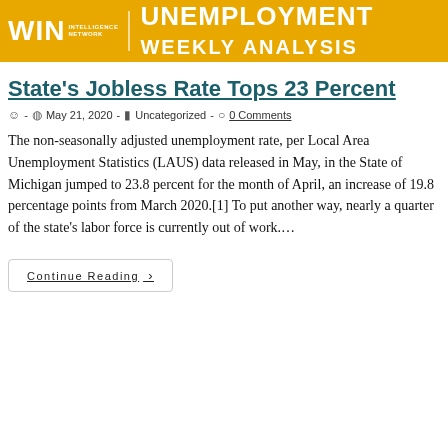WIN INTELLIGENCE NETWORK — UNEMPLOYMENT WEEKLY ANALYSIS
State's Jobless Rate Tops 23 Percent
- May 21, 2020 - Uncategorized - 0 Comments
The non-seasonally adjusted unemployment rate, per Local Area Unemployment Statistics (LAUS) data released in May, in the State of Michigan jumped to 23.8 percent for the month of April, an increase of 19.8 percentage points from March 2020.[1] To put another way, nearly a quarter of the state's labor force is currently out of work....
Continue Reading >